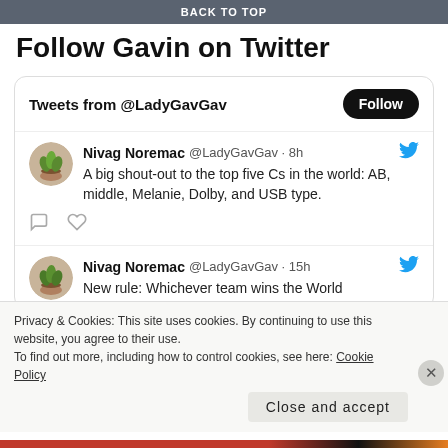BACK TO TOP
Follow Gavin on Twitter
[Figure (screenshot): Twitter widget showing tweets from @LadyGavGav with a Follow button. Two tweets visible: one 8h ago about top five Cs, one 15h ago about a new rule.]
Privacy & Cookies: This site uses cookies. By continuing to use this website, you agree to their use.
To find out more, including how to control cookies, see here: Cookie Policy
Close and accept